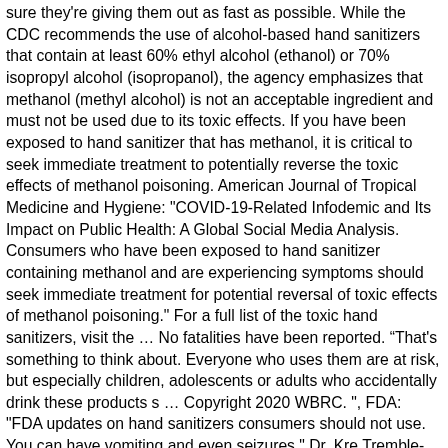sure they're giving them out as fast as possible. While the CDC recommends the use of alcohol-based hand sanitizers that contain at least 60% ethyl alcohol (ethanol) or 70% isopropyl alcohol (isopropanol), the agency emphasizes that methanol (methyl alcohol) is not an acceptable ingredient and must not be used due to its toxic effects. If you have been exposed to hand sanitizer that has methanol, it is critical to seek immediate treatment to potentially reverse the toxic effects of methanol poisoning. American Journal of Tropical Medicine and Hygiene: "COVID-19-Related Infodemic and Its Impact on Public Health: A Global Social Media Analysis. Consumers who have been exposed to hand sanitizer containing methanol and are experiencing symptoms should seek immediate treatment for potential reversal of toxic effects of methanol poisoning." For a full list of the toxic hand sanitizers, visit the … No fatalities have been reported. “That's something to think about. Everyone who uses them are at risk, but especially children, adolescents or adults who accidentally drink these products s … Copyright 2020 WBRC. ", FDA: "FDA updates on hand sanitizers consumers should not use. You can have vomiting and even seizures," Dr. Kre Tremble-Johnson owner of Brownstone Health & Aesthetics. Dr. Northington said your skin will warn you something's